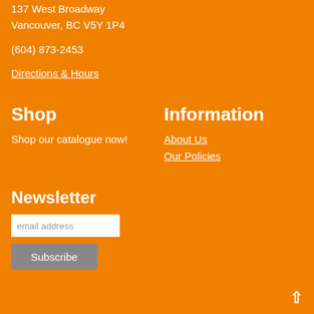137 West Broadway
Vancouver, BC V5Y 1P4
(604) 873-2453
Directions & Hours
Shop
Shop our catalogue now!
Information
About Us
Our Policies
Newsletter
email address
Subscribe